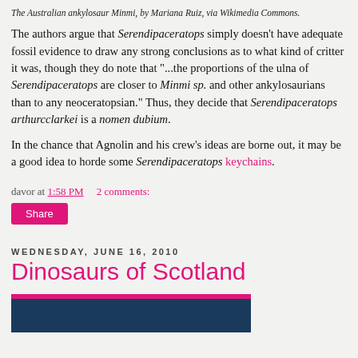The Australian ankylosaur Minmi, by Mariana Ruiz, via Wikimedia Commons.
The authors argue that Serendipaceratops simply doesn't have adequate fossil evidence to draw any strong conclusions as to what kind of critter it was, though they do note that "...the proportions of the ulna of Serendipaceratops are closer to Minmi sp. and other ankylosaurians than to any neoceratopsian." Thus, they decide that Serendipaceratops arthurcclarkei is a nomen dubium.
In the chance that Agnolin and his crew's ideas are borne out, it may be a good idea to horde some Serendipaceratops keychains.
davor at 1:58 PM    2 comments:
Share
WEDNESDAY, JUNE 16, 2010
Dinosaurs of Scotland
[Figure (photo): Bottom portion of a photo with dark blue/teal background and magenta/pink top border strip.]